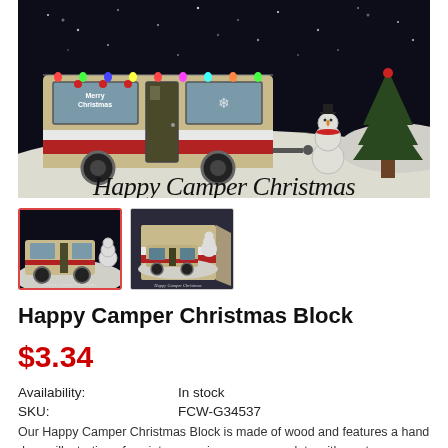[Figure (illustration): Product image showing a decorative wooden block with a hand-drawn winter camping scene featuring a retro camper decorated for Christmas with 'Merry Christmas' on the window, a snowman, snow-covered trees, colorful Christmas lights, and script text reading 'Happy Camper Christmas' on a dark night background with snow.]
[Figure (photo): Thumbnail 1 - front view of Happy Camper Christmas Block (selected, red border)]
[Figure (photo): Thumbnail 2 - angled/side view of Happy Camper Christmas Block]
Happy Camper Christmas Block
$3.34
| Availability: | In stock |
| SKU: | FCW-G34537 |
Our Happy Camper Christmas Block is made of wood and features a hand drawn illustration of a winter camping scene complete with a retro camper and a friendly snowman. Side